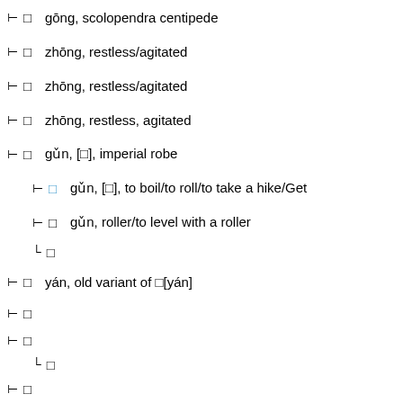gōng, scolopendra centipede
zhōng, restless/agitated
zhōng, restless/agitated
zhōng, restless, agitated
gǔn, [囷], imperial robe
gǔn, [滚], to boil/to roll/to take a hike/Get
gǔn, roller/to level with a roller
yán, old variant of 嵒[yán]